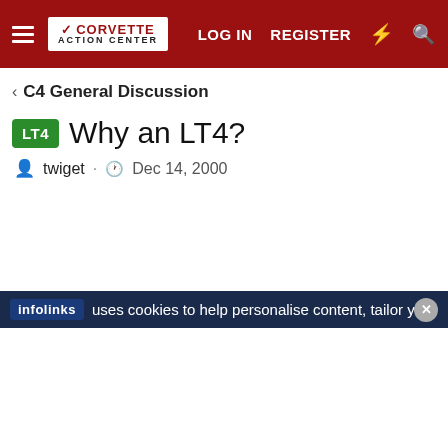Corvette Action Center — LOG IN  REGISTER
C4 General Discussion
LT4  Why an LT4?
twiget · Dec 14, 2000
infolinks uses cookies to help personalise content, tailor your